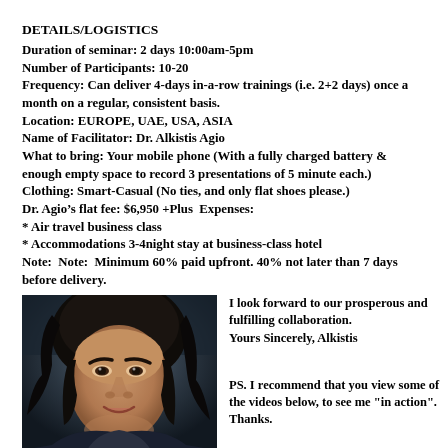DETAILS/LOGISTICS
Duration of seminar: 2 days 10:00am-5pm
Number of Participants: 10-20
Frequency: Can deliver 4-days in-a-row trainings (i.e. 2+2 days) once a month on a regular, consistent basis.
Location: EUROPE, UAE, USA, ASIA
Name of Facilitator: Dr. Alkistis Agio
What to bring: Your mobile phone (With a fully charged battery & enough empty space to record 3 presentations of 5 minute each.)
Clothing: Smart-Casual (No ties, and only flat shoes please.)
Dr. Agio's flat fee: $6,950 +Plus  Expenses:
* Air travel business class
* Accommodations 3-4night stay at business-class hotel
Note:  Note:  Minimum 60% paid upfront. 40% not later than 7 days before delivery.
[Figure (photo): Portrait photo of Dr. Alkistis Agio, a woman with dark hair, facing forward]
I look forward to our prosperous and fulfilling collaboration.
Yours Sincerely, Alkistis
PS. I recommend that you view some of the videos below, to see me "in action". Thanks.